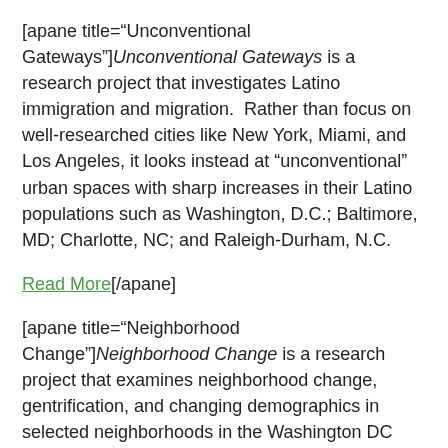[apane title="Unconventional Gateways"]Unconventional Gateways is a research project that investigates Latino immigration and migration.  Rather than focus on well-researched cities like New York, Miami, and Los Angeles, it looks instead at “unconventional” urban spaces with sharp increases in their Latino populations such as Washington, D.C.; Baltimore, MD; Charlotte, NC; and Raleigh-Durham, N.C.
Read More[/apane]
[apane title="Neighborhood Change"]Neighborhood Change is a research project that examines neighborhood change, gentrification, and changing demographics in  selected neighborhoods in the Washington DC metropolitan area. Museum educational programs, research, documentation, and the resulting exhibition will highlight diverse social issues and research queries, including: memory and neighborhood change; land use and the role of zoning and planning;